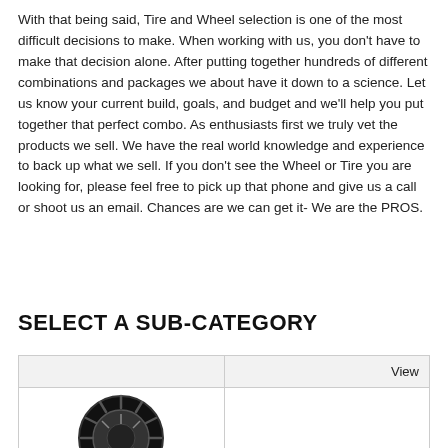With that being said, Tire and Wheel selection is one of the most difficult decisions to make. When working with us, you don't have to make that decision alone. After putting together hundreds of different combinations and packages we about have it down to a science. Let us know your current build, goals, and budget and we'll help you put together that perfect combo. As enthusiasts first we truly vet the products we sell. We have the real world knowledge and experience to back up what we sell. If you don't see the Wheel or Tire you are looking for, please feel free to pick up that phone and give us a call or shoot us an email. Chances are we can get it- We are the PROS.
SELECT A SUB-CATEGORY
|  | View |
| --- | --- |
| [tire image] |  |